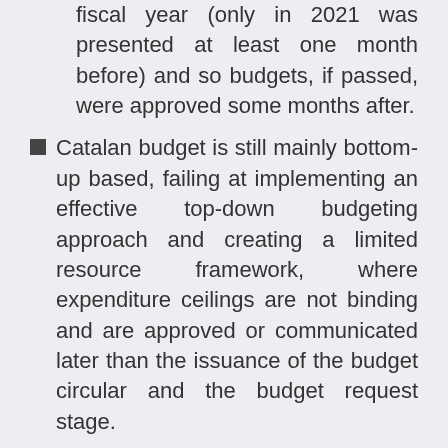fiscal year (only in 2021 was presented at least one month before) and so budgets, if passed, were approved some months after.
Catalan budget is still mainly bottom-up based, failing at implementing an effective top-down budgeting approach and creating a limited resource framework, where expenditure ceilings are not binding and are approved or communicated later than the issuance of the budget circular and the budget request stage.
Even medium-term perspective,